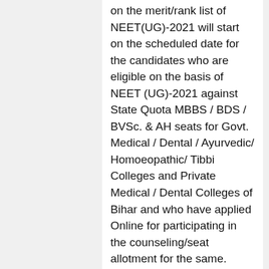on the merit/rank list of NEET(UG)-2021 will start on the scheduled date for the candidates who are eligible on the basis of NEET (UG)-2021 against State Quota MBBS / BDS / BVSc. & AH seats for Govt. Medical / Dental / Ayurvedic/ Homoeopathic/ Tibbi Colleges and Private Medical / Dental Colleges of Bihar and who have applied Online for participating in the counseling/seat allotment for the same.
Each candidate who is eligible has to appear for counseling on the scheduled date along with a hard copy of the downloaded print of Online filled Application Form (Part-A & Part-B) UGMAC 2021 and...